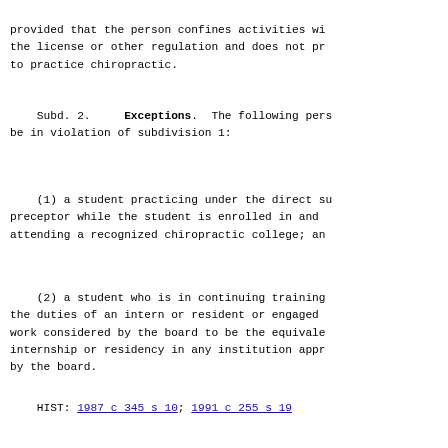provided that the person confines activities wi the license or other regulation and does not pr to practice chiropractic.
Subd. 2.    Exceptions.  The following pers be in violation of subdivision 1:
(1) a student practicing under the direct su preceptor while the student is enrolled in and attending a recognized chiropractic college; an
(2) a student who is in continuing training the duties of an intern or resident or engaged work considered by the board to be the equivale internship or residency in any institution appr by the board.
HIST: 1987 c 345 s 10; 1991 c 255 s 19